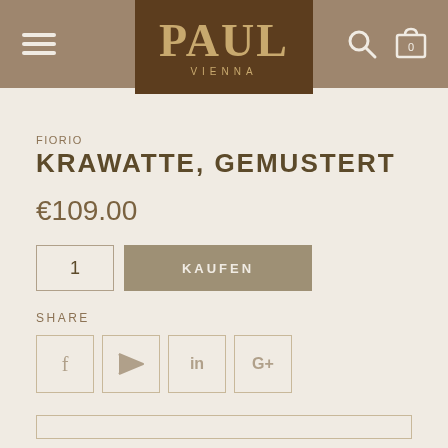[Figure (logo): PAUL VIENNA logo in dark brown box, centered in a tan navigation header with hamburger menu icon on left and search/cart icons on right]
FIORIO
KRAWATTE, GEMUSTERT
€109.00
1  KAUFEN
SHARE
[Figure (other): Social share icons: Facebook (f), Twitter (bird), LinkedIn (in), Google+ (G+)]
[Figure (other): Bottom content box outline]